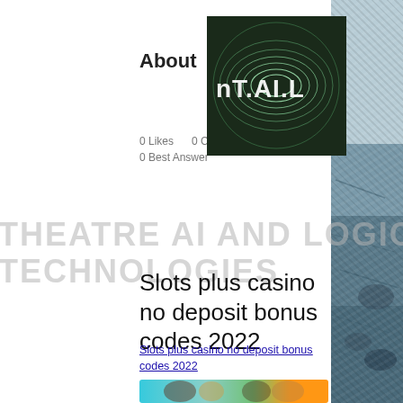[Figure (logo): Abstract wave pattern logo with text nT.AI.L overlaid on a dark circular image with metallic wave patterns]
About
0 Likes     0 Comment Received
0 Best Answer
[Figure (illustration): Watermark text reading THEATRE, AI, AND LOGIC TECHNOLOGIES in large faded gray letters]
Slots plus casino no deposit bonus codes 2022
Slots plus casino no deposit bonus codes 2022
[Figure (photo): Blurred casino/gaming scene with characters visible on teal/blue background]
[Figure (photo): Rocky cliff/mountain texture photo on right sidebar]